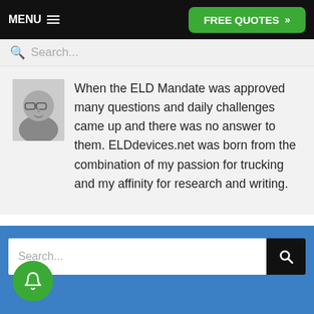MENU  FREE QUOTES »
Search...
[Figure (photo): Black and white profile photo of a man with glasses]
When the ELD Mandate was approved many questions and daily challenges came up and there was no answer to them. ELDdevices.net was born from the combination of my passion for trucking and my affinity for research and writing.
Search...